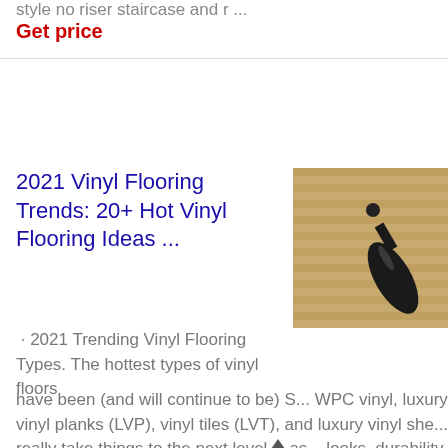style no riser staircase and r ...
Get price
2021 Vinyl Flooring Trends: 20+ Hot Vinyl Flooring Ideas ...
[Figure (photo): Photo of a wine bottle on a vinyl/wood floor surface]
· 2021 Trending Vinyl Flooring Types. The hottest types of vinyl floors have been (and will continue to be) S... WPC vinyl, luxury vinyl planks (LVP), vinyl tiles (LVT), and luxury vinyl she... really take things to the next level as... looks, durability, and features.